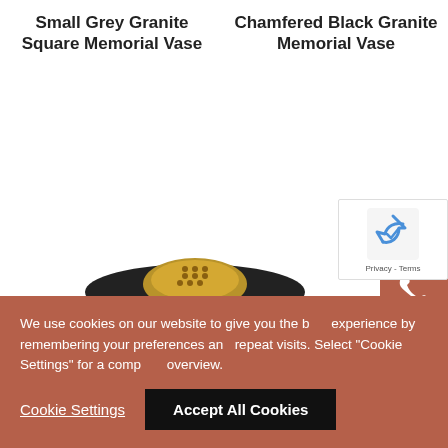Small Grey Granite Square Memorial Vase
Chamfered Black Granite Memorial Vase
[Figure (photo): A black granite chamfered memorial vase with a gold-coloured perforated lid, photographed close-up against a white background.]
[Figure (other): Sidebar with phone icon, email icon, and calendar icon on terracotta/brown background.]
[Figure (other): reCAPTCHA verification widget with Privacy and Terms links.]
We use cookies on our website to give you the best experience by remembering your preferences and repeat visits. Select "Cookie Settings" for a complete overview.
Cookie Settings
Accept All Cookies